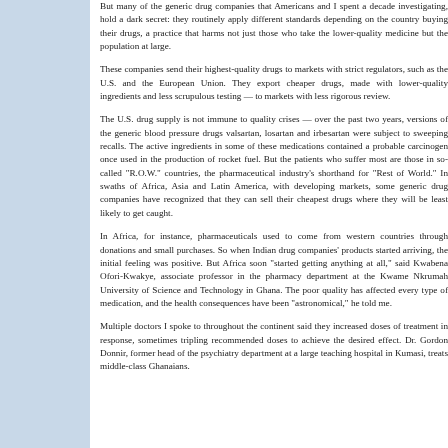But many of the generic drug companies that Americans and I spent a decade investigating, hold a dark secret: they routinely apply different standards depending on the country buying their drugs, a practice that harms not just those who take the lower-quality medicine but the population at large.
These companies send their highest-quality drugs to markets with strict regulators, such as the U.S. and the European Union. They export cheaper drugs, made with lower-quality ingredients and less scrupulous testing — to markets with less rigorous review.
The U.S. drug supply is not immune to quality crises — over the past two years, versions of the generic blood pressure drugs valsartan, losartan and irbesartan were subject to sweeping recalls. The active ingredients in some of these medications contained a probable carcinogen once used in the production of rocket fuel. But the patients who suffer most are those in so-called "R.O.W." countries, the pharmaceutical industry's shorthand for "Rest of World." In swaths of Africa, Asia and Latin America, with developing markets, some generic drug companies have recognized that they can sell their cheapest drugs where they will be least likely to get caught.
In Africa, for instance, pharmaceuticals used to come from western countries through donations and small purchases. So when Indian drug companies' products started arriving, the initial feeling was positive. But Africa soon "started getting anything at all," said Kwabena Ofori-Kwakye, associate professor in the pharmacy department at the Kwame Nkrumah University of Science and Technology in Ghana. The poor quality has affected every type of medication, and the health consequences have been "astronomical," he told me.
Multiple doctors I spoke to throughout the continent said they increased doses of treatment in response, sometimes tripling recommended doses to achieve the desired effect. Dr. Gordon Donnir, former head of the psychiatry department at a large teaching hospital in Kumasi, treats middle-class Ghanaians.